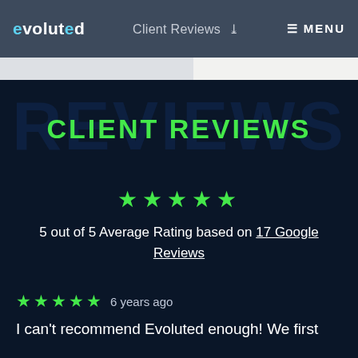evoluted   Client Reviews   MENU
CLIENT REVIEWS
5 out of 5 Average Rating based on 17 Google Reviews
★★★★★  6 years ago
I can't recommend Evoluted enough! We first